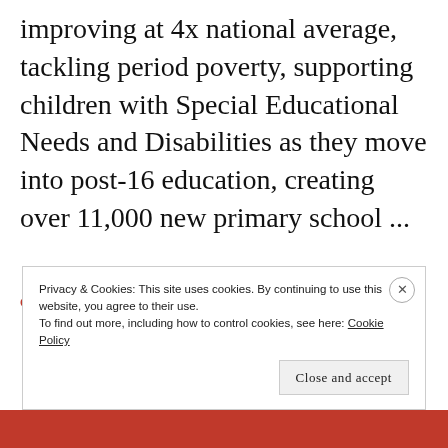improving at 4x national average, tackling period poverty, supporting children with Special Educational Needs and Disabilities as they move into post-16 education, creating over 11,000 new primary school ...
CONTINUE READING
Privacy & Cookies: This site uses cookies. By continuing to use this website, you agree to their use.
To find out more, including how to control cookies, see here: Cookie Policy
Close and accept